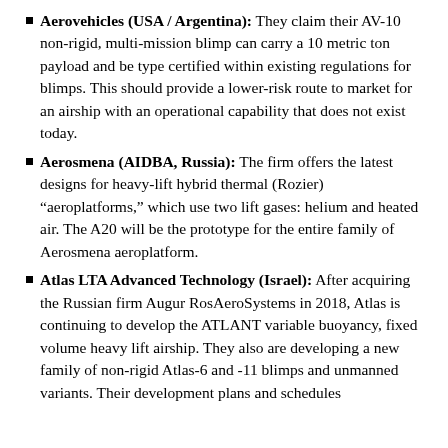Aerovehicles (USA / Argentina): They claim their AV-10 non-rigid, multi-mission blimp can carry a 10 metric ton payload and be type certified within existing regulations for blimps. This should provide a lower-risk route to market for an airship with an operational capability that does not exist today.
Aerosmena (AIDBA, Russia): The firm offers the latest designs for heavy-lift hybrid thermal (Rozier) “aeroplatforms,” which use two lift gases: helium and heated air. The A20 will be the prototype for the entire family of Aerosmena aeroplatform.
Atlas LTA Advanced Technology (Israel): After acquiring the Russian firm Augur RosAeroSystems in 2018, Atlas is continuing to develop the ATLANT variable buoyancy, fixed volume heavy lift airship. They also are developing a new family of non-rigid Atlas-6 and -11 blimps and unmanned variants. Their development plans and schedules